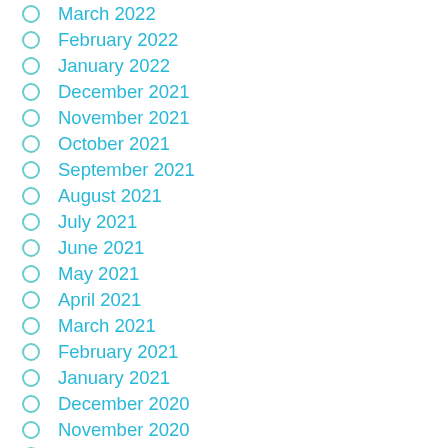March 2022
February 2022
January 2022
December 2021
November 2021
October 2021
September 2021
August 2021
July 2021
June 2021
May 2021
April 2021
March 2021
February 2021
January 2021
December 2020
November 2020
October 2020
September 2020